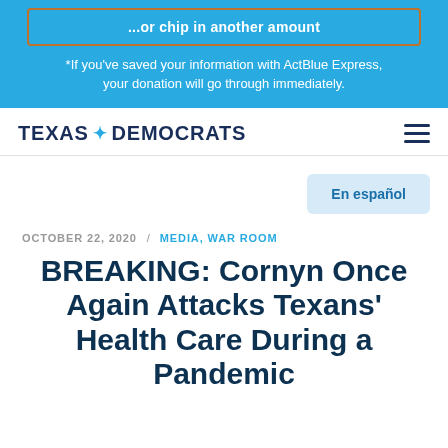...or chip in another amount
*If you've saved your information with ActBlue Express, your donation will go through immediately.
TEXAS DEMOCRATS
En español
OCTOBER 22, 2020 / MEDIA, WAR ROOM
BREAKING: Cornyn Once Again Attacks Texans' Health Care During a Pandemic